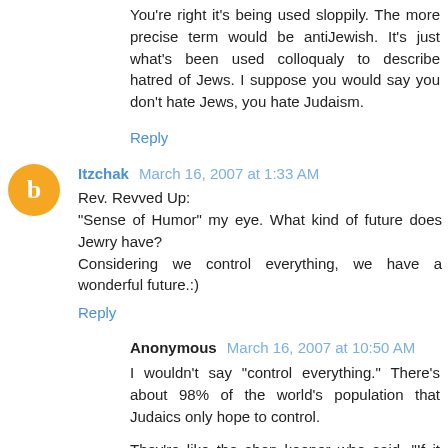You're right it's being used sloppily. The more precise term would be antiJewish. It's just what's been used colloqualy to describe hatred of Jews. I suppose you would say you don't hate Jews, you hate Judaism.
Reply
Itzchak March 16, 2007 at 1:33 AM
Rev. Revved Up:
"Sense of Humor" my eye. What kind of future does Jewry have?
Considering we control everything, we have a wonderful future.:)
Reply
Anonymous March 16, 2007 at 10:50 AM
I wouldn't say "control everything." There's about 98% of the world's population that Judaics only hope to control.
They're like the shop keeper who said, "If it weren't for the